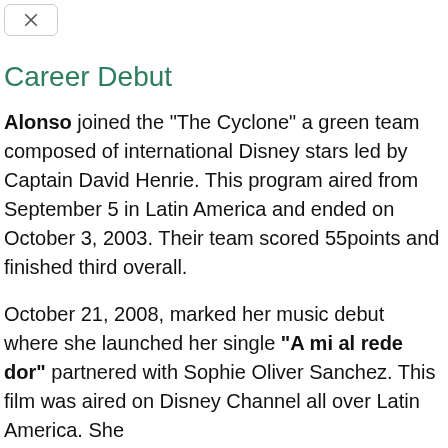[Figure (other): A close button or back button icon in a rounded rectangle border at top left]
Career Debut
Alonso joined the "The Cyclone" a green team composed of international Disney stars led by Captain David Henrie. This program aired from September 5 in Latin America and ended on October 3, 2003. Their team scored 55points and finished third overall.
October 21, 2008, marked her music debut where she launched her single "A mi al rede dor" partnered with Sophie Oliver Sanchez. This film was aired on Disney Channel all over Latin America. She